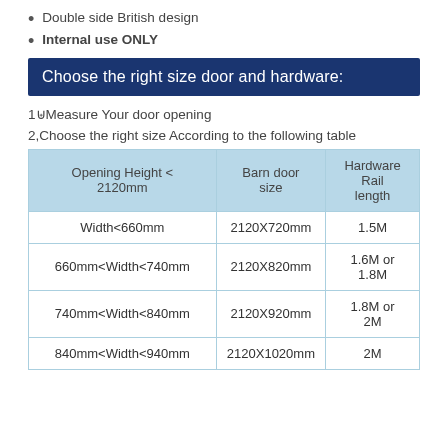Double side British design
Internal use ONLY
Choose the right size door and hardware:
1◎Measure Your door opening
2,Choose the right size According to the following table
| Opening Height < 2120mm | Barn door size | Hardware Rail length |
| --- | --- | --- |
| Width<660mm | 2120X720mm | 1.5M |
| 660mm<Width<740mm | 2120X820mm | 1.6M or 1.8M |
| 740mm<Width<840mm | 2120X920mm | 1.8M or 2M |
| 840mm<Width<940mm | 2120X1020mm | 2M |